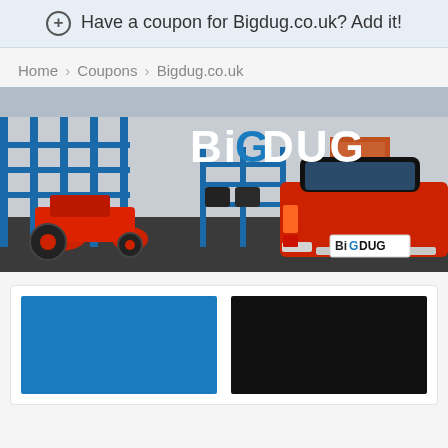⊕ Have a coupon for Bigdug.co.uk? Add it!
Home › Coupons › Bigdug.co.uk
[Figure (photo): BigDug banner image showing a garage/warehouse with blue shelving, a red ride-on mower, and a classic red car with a BigDug license plate badge. The BigDUG logo appears in white at the top center.]
[Figure (other): Two coupon card placeholders side by side — one blue rectangle and one black rectangle inside a white rounded card.]